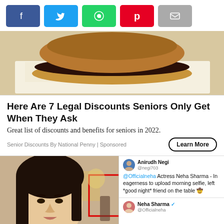[Figure (other): Social share buttons row: Facebook (blue), Twitter (light blue), WhatsApp (green), Pinterest (red), Email (gray)]
[Figure (photo): Photo of a hamburger/burger on white paper wrapper]
Here Are 7 Legal Discounts Seniors Only Get When They Ask
Great list of discounts and benefits for seniors in 2022.
Senior Discounts By National Penny | Sponsored
[Figure (screenshot): Photo of actress Neha Sharma with overlaid tweets from Anirudh Negi and Neha Sharma, with a red rectangle highlighting an object on a table in the background]
Anirudh Negi @negi703 — @Officialneha Actress Neha Sharma - In eagerness to upload morning selfie, left *good night* friend on the table 🤠
Neha Sharma @Officialneha